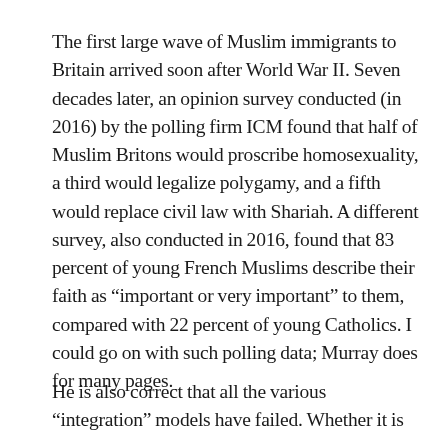The first large wave of Muslim immigrants to Britain arrived soon after World War II. Seven decades later, an opinion survey conducted (in 2016) by the polling firm ICM found that half of Muslim Britons would proscribe homosexuality, a third would legalize polygamy, and a fifth would replace civil law with Shariah. A different survey, also conducted in 2016, found that 83 percent of young French Muslims describe their faith as “important or very important” to them, compared with 22 percent of young Catholics. I could go on with such polling data; Murray does for many pages.
He is also correct that all the various “integration” models have failed. Whether it is